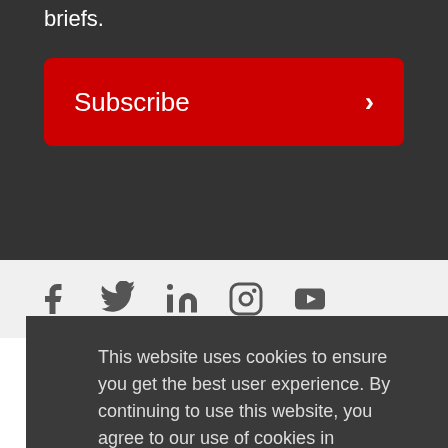briefs.
Subscribe →
[Figure (other): Social media icons: Facebook, Twitter, LinkedIn, Instagram, YouTube]
This website uses cookies to ensure you get the best user experience. By continuing to use this website, you agree to our use of cookies in accordance with our Privacy & Cookies Policy. Learn more
Got it!